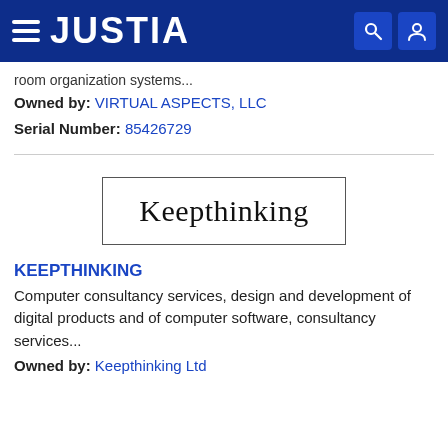JUSTIA
room organization systems...
Owned by: VIRTUAL ASPECTS, LLC
Serial Number: 85426729
[Figure (logo): Keepthinking trademark logo in a rectangular border box, serif font text reading Keepthinking]
KEEPTHINKING
Computer consultancy services, design and development of digital products and of computer software, consultancy services...
Owned by: Keepthinking Ltd